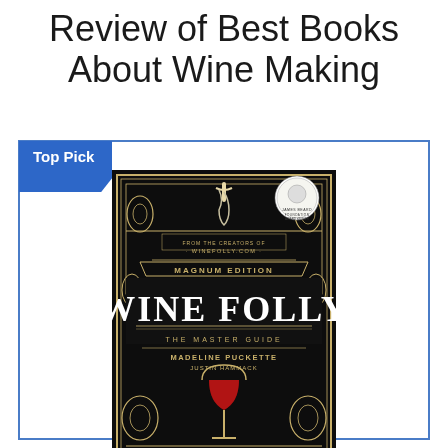Review of Best Books About Wine Making
Top Pick
[Figure (photo): Book cover of Wine Folly: The Master Guide, Magnum Edition by Madeline Puckette and Justin Hammack. Dark black ornate cover with gold decorative borders, a corkscrew at top, wine glass with red wine at bottom, and a James Beard Foundation Award seal in the top right corner.]